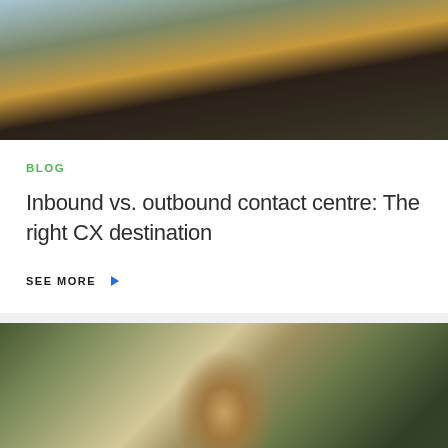[Figure (photo): Person in checkered shirt leaning over, cropped top portion visible]
BLOG
Inbound vs. outbound contact centre: The right CX destination
SEE MORE
[Figure (photo): Man with curly hair and glasses smiling, holding phone, surrounded by plants]